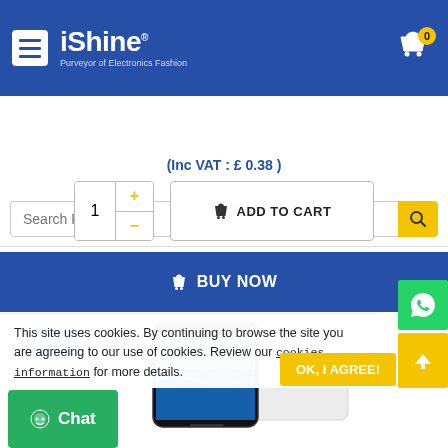[Figure (screenshot): iShine e-commerce website header with hamburger menu, iShine logo, and shopping cart icon with 0 badge]
[Figure (screenshot): Search bar with placeholder 'Search Products...' and yellow search button]
(Inc VAT : £ 0.38 )
[Figure (screenshot): Quantity selector with plus/minus buttons showing 1, and ADD TO CART button]
[Figure (screenshot): Blue BUY NOW button]
[Figure (screenshot): Product image showing a phone with screen protector, NEW badge in blue]
This site uses cookies. By continuing to browse the site you are agreeing to our use of cookies. Review our cookies information for more details.
[Figure (screenshot): OK, I AGREE! button in yellow, Chat button in green, WhatsApp button, scroll-to-top button]